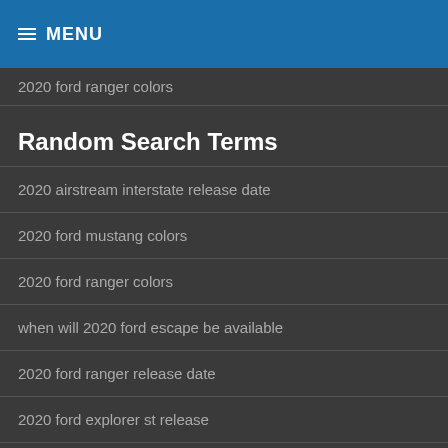MENU
2020 ford ranger colors
Random Search Terms
2020 airstream interstate release date
2020 ford mustang colors
2020 ford ranger colors
when will 2020 ford escape be available
2020 ford ranger release date
2020 ford explorer st release
2020 ford ranger